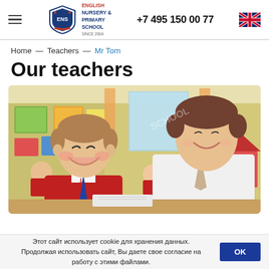ENS English Nursery & Primary School | +7 495 150 00 77
Home — Teachers — Mr Tom
Our teachers
[Figure (photo): A smiling male teacher leaning toward a young boy in red school uniform sitting at a classroom desk. Other children in red uniforms are visible in the background of a colorful classroom.]
Этот сайт использует cookie для хранения данных. Продолжая использовать сайт, Вы даете свое согласие на работу с этими файлами.